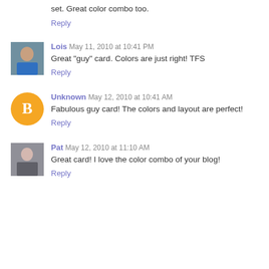set. Great color combo too.
Reply
Lois May 11, 2010 at 10:41 PM
Great "guy" card. Colors are just right! TFS
Reply
Unknown May 12, 2010 at 10:41 AM
Fabulous guy card! The colors and layout are perfect!
Reply
Pat May 12, 2010 at 11:10 AM
Great card! I love the color combo of your blog!
Reply